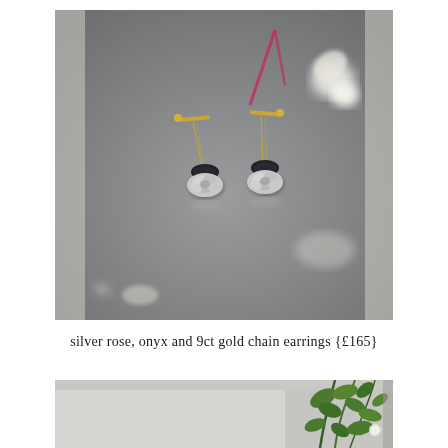[Figure (photo): Two silver rose and onyx earrings with 9ct gold chains laid flat on a grey reflective surface, with a pink/red ribbon tag visible, and soft light reflections in the background.]
silver rose, onyx and 9ct gold chain earrings {£165}
[Figure (photo): Partial view of a white wall with green climbing plant/vine visible on the right side, light grey background.]